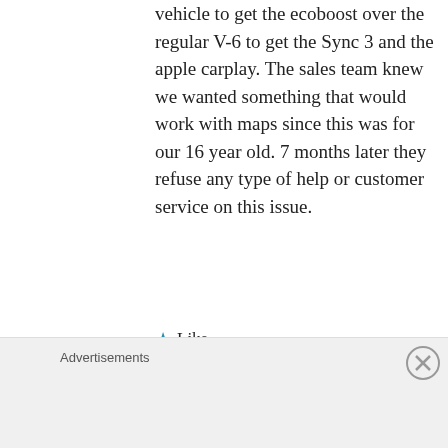vehicle to get the ecoboost over the regular V-6 to get the Sync 3 and the apple carplay. The sales team knew we wanted something that would work with maps since this was for our 16 year old. 7 months later they refuse any type of help or customer service on this issue.
★ Like
Reply
Sal Druda
June 1, 2017 at 11:40 pm
Advertisements